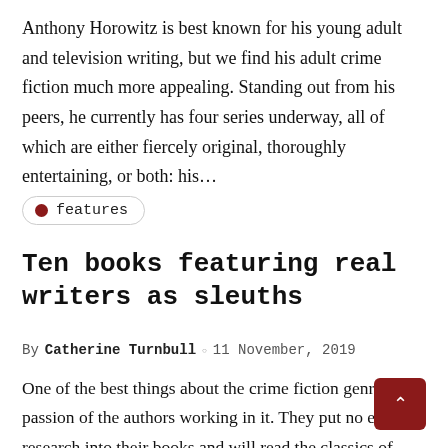Anthony Horowitz is best known for his young adult and television writing, but we find his adult crime fiction much more appealing. Standing out from his peers, he currently has four series underway, all of which are either fiercely original, thoroughly entertaining, or both: his…
features
Ten books featuring real writers as sleuths
By Catherine Turnbull ○ 11 November, 2019
One of the best things about the crime fiction genre is the passion of the authors working in it. They put no end research into their books and will read the classics of genre over and over again in order to learn from…